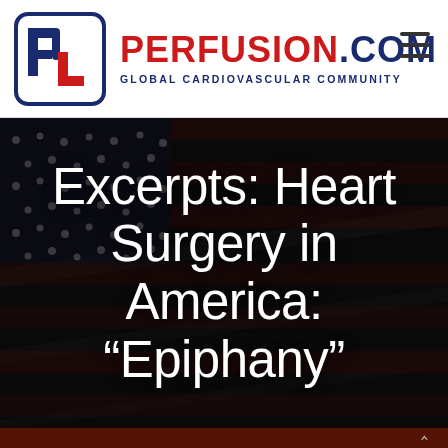[Figure (logo): Perfusion.com logo — stylized letters P and L in blue and red inside a rounded square border]
PERFUSION.COM
GLOBAL CARDIOVASCULAR COMMUNITY
[Figure (photo): Dark monochrome American flag background with white overlay text reading: Excerpts: Heart Surgery in America: “Epiphany”]
Excerpts: Heart Surgery in America: “Epiphany”